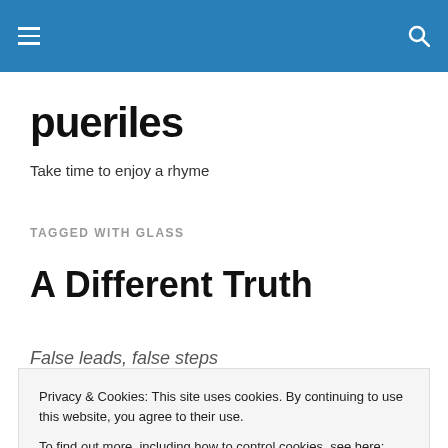Navigation bar with hamburger menu and search icon
pueriles
Take time to enjoy a rhyme
TAGGED WITH GLASS
A Different Truth
False leads, false steps
Privacy & Cookies: This site uses cookies. By continuing to use this website, you agree to their use.
To find out more, including how to control cookies, see here: Cookie Policy
Close and accept